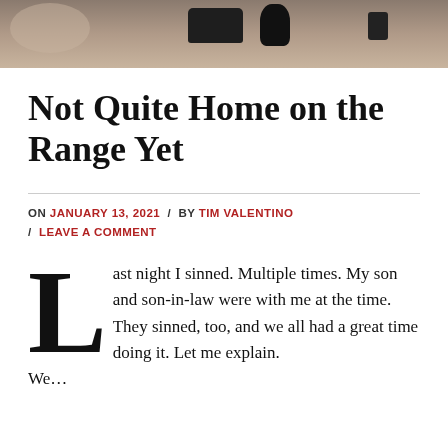[Figure (photo): A photo showing dark objects (possibly firearms/gun accessories) on a light-colored table surface]
Not Quite Home on the Range Yet
ON JANUARY 13, 2021 / BY TIM VALENTINO / LEAVE A COMMENT
Last night I sinned. Multiple times. My son and son-in-law were with me at the time. They sinned, too, and we all had a great time doing it. Let me explain. We...